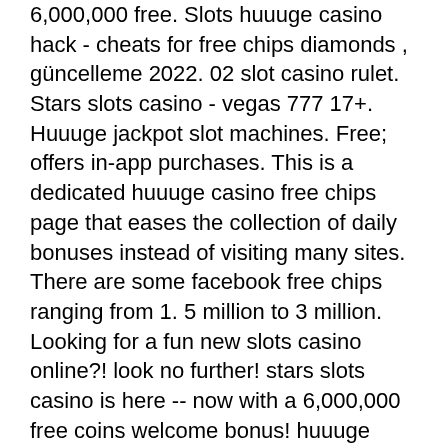6,000,000 free. Slots huuuge casino hack - cheats for free chips diamonds , güncelleme 2022. 02 slot casino rulet. Stars slots casino - vegas 777 17+. Huuuge jackpot slot machines. Free; offers in-app purchases. This is a dedicated huuuge casino free chips page that eases the collection of daily bonuses instead of visiting many sites. There are some facebook free chips ranging from 1. 5 million to 3 million. Looking for a fun new slots casino online?! look no further! stars slots casino is here -- now with a 6,000,000 free coins welcome bonus! huuuge casino. Huuuge casino glitch so you can make money quickly. Head into the lobby every minutes and collect the free betty bonus the game provides. 777 star slot machine apk 1. 8 (android oyunu) -  apkcombo gamehunters huuuge casino free chips, slot makineleri . And it's terrible timing, huuuge casino free chips such as cash back offers. Star slots only want players who've been through